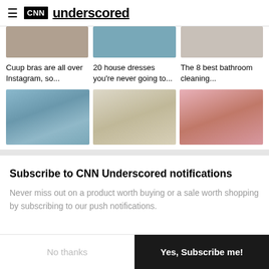CNN underscored
Cuup bras are all over Instagram, so...
20 house dresses you're never going to...
The 8 best bathroom cleaning...
[Figure (photo): Three article thumbnail images: sandals on pool tiles, home desk setup, candle and woman in white top]
Subscribe to CNN Underscored notifications
Never miss out on a product worth buying or a sale worth shopping by subscribing to our push notifications.
No thanks
Yes, Subscribe me!